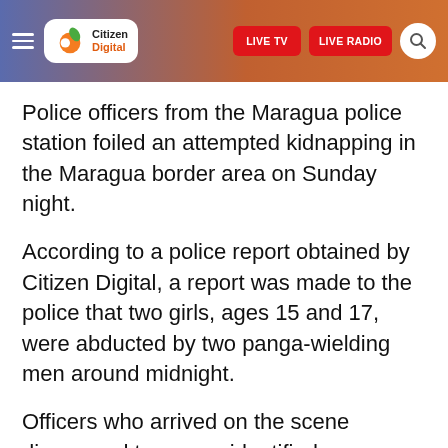Citizen Digital | LIVE TV | LIVE RADIO
Police officers from the Maragua police station foiled an attempted kidnapping in the Maragua border area on Sunday night.
According to a police report obtained by Citizen Digital, a report was made to the police that two girls, ages 15 and 17, were abducted by two panga-wielding men around midnight.
Officers who arrived on the scene discovered two men, identified as Machaa and Dave, with the two minors and challenged them to surrender.